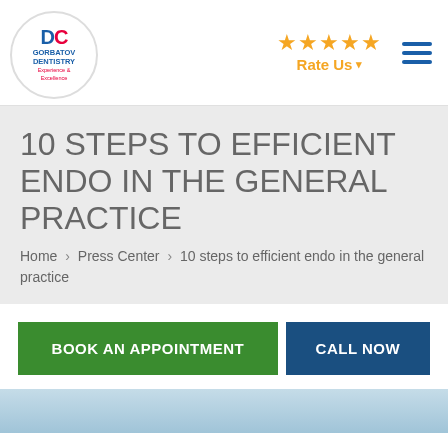[Figure (logo): Gorbatov Dentistry logo - circular with DC letters and text 'GORBATOV DENTISTRY Experience & Excellence']
[Figure (other): Five yellow stars with 'Rate Us' dropdown link]
[Figure (other): Hamburger menu icon with three horizontal blue bars]
10 STEPS TO EFFICIENT ENDO IN THE GENERAL PRACTICE
Home > Press Center > 10 steps to efficient endo in the general practice
[Figure (other): Green 'BOOK AN APPOINTMENT' button and dark blue 'CALL NOW' button]
[Figure (photo): Partial dental/medical photo visible at bottom of page with blue/teal tones]